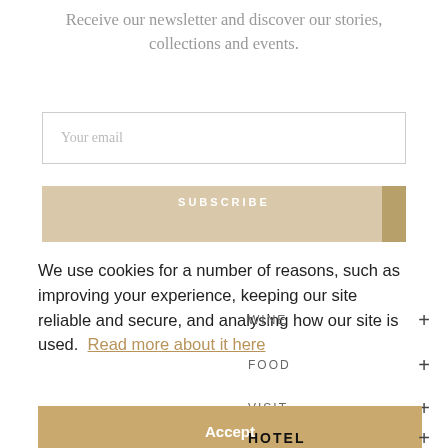Receive our newsletter and discover our stories, collections and events.
Your email
SUBSCRIBE
We use cookies for a number of reasons, such as improving your experience, keeping our site reliable and secure, and analysing how our site is used. Read more about it here
Accept
WINE
FOOD
VISIT
HOTEL